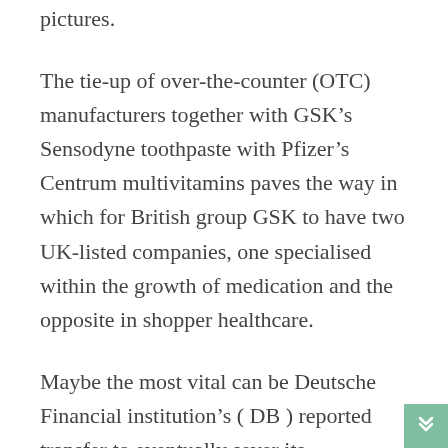pictures.
The tie-up of over-the-counter (OTC) manufacturers together with GSK’s Sensodyne toothpaste with Pfizer’s Centrum multivitamins paves the way in which for British group GSK to have two UK-listed companies, one specialised within the growth of medication and the opposite in shopper healthcare.
Maybe the most vital can be Deutsche Financial institution’s ( DB ) reported transfer to eventually sever its relationship with Donald Trump and his companies. The multinational financial institution has long been a key holder